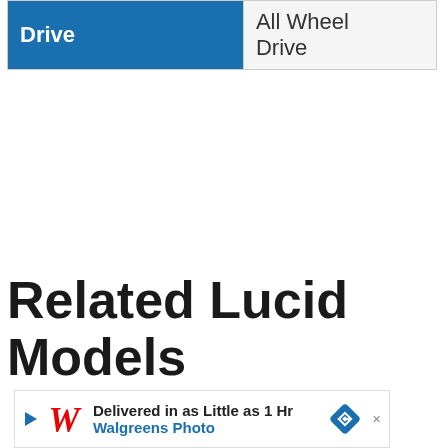| Drive | All Wheel Drive |
Related Lucid Models
[Figure (other): Walgreens Photo advertisement banner: 'Delivered in as Little as 1 Hr / Walgreens Photo' with logo and diamond icon]